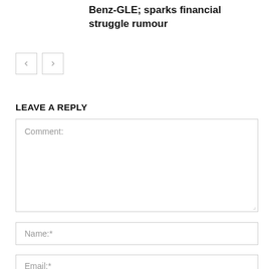Benz-GLE; sparks financial struggle rumour
[Figure (other): Navigation previous and next arrow buttons]
LEAVE A REPLY
Comment:
Name:*
Email:*